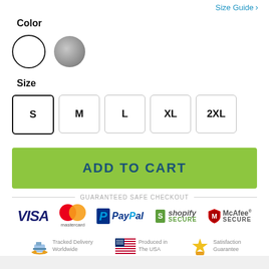Size Guide ›
Color
[Figure (other): Two color swatches: white circle with black border, and gray circle]
Size
[Figure (other): Size selector buttons: S (selected), M, L, XL, 2XL]
ADD TO CART
GUARANTEED SAFE CHECKOUT
[Figure (infographic): Payment logos: VISA, Mastercard, PayPal, Shopify Secure, McAfee Secure]
[Figure (infographic): Trust badges: Tracked Delivery Worldwide, Produced in The USA, Satisfaction Guarantee]